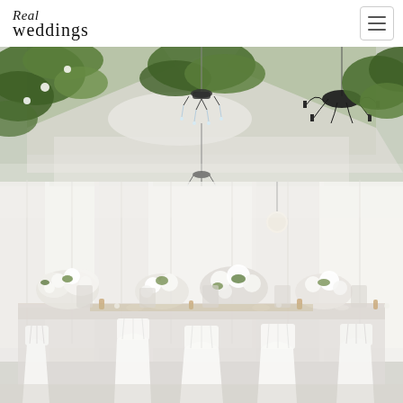Real Weddings
[Figure (photo): Wedding reception venue interior with white draped tent, crystal and black iron chandeliers hanging from ceiling, lush green and white floral arrangements overhead, long reception tables with white tablecloths adorned with white floral centerpieces (hydrangeas, roses), white bentwood chairs, and soft natural light filtering through clear tent walls.]